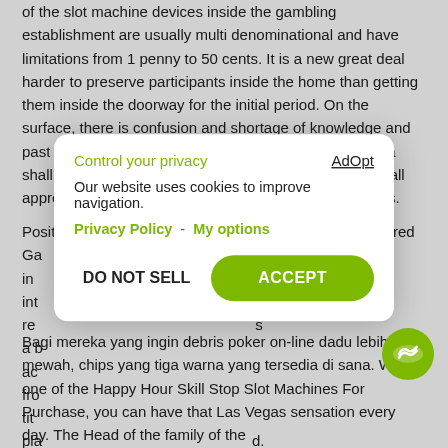of the slot machine devices inside the gambling establishment are usually multi denominational and have limitations from 1 penny to 50 cents. It is a new great deal harder to preserve participants inside the home than getting them inside the doorway for the initial period. On the surface, there is confusion and shortage of knowledge and past knowledge as to what this methods:(1) South Africa shall be a multi-party democracy in which all citizens shall appreciate basic political privileges on an matched basis.
Position Appliance is the most entertaining time of Dark red Ga                                                                os in                                                                   int re                                                                 s a b ac fro tit pla                                                      d.
[Figure (screenshot): Cookie consent modal overlay with 'Control your privacy' header in green, AdOpt link, text about website using cookies, Privacy Policy and My options links in green, DO NOT SELL button and green ACCEPT button]
Bagi mereka yang ingin debris poker on-line dadu lebih mewah, chips yang tiga warna yang tersedia di sana. With one of the Happy Hour Skill Stop Slot Machines For Purchase, you can have that Las Vegas sensation every day. The Head of the family of the